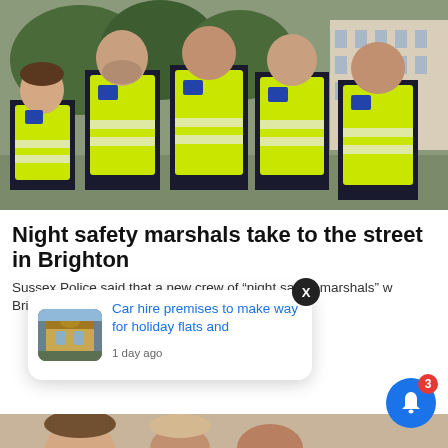[Figure (photo): Five people in high-visibility yellow safety vests posing outdoors in a park setting with trees and white buildings in the background — night safety marshals from Brighton]
Night safety marshals take to the street in Brighton
Sussex Police said that a new crew of "night safety marshals" w Brighton. The ...
[Figure (photo): Notification popup card showing a thumbnail of a building with text 'Car hire premises to make way for holiday flats and' and timestamp '1 day ago']
[Figure (photo): Bottom strip showing partial photo of people, cropped at bottom of page]